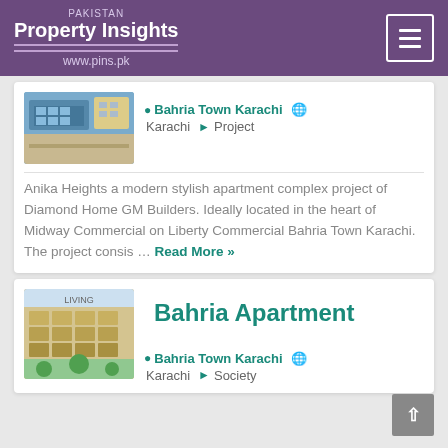PAKISTAN Property Insights www.pins.pk
[Figure (screenshot): Property listing image for Anika Heights apartment building]
Bahria Town Karachi  Karachi  Project
Anika Heights a modern stylish apartment complex project of Diamond Home GM Builders. Ideally located in the heart of Midway Commercial on Liberty Commercial Bahria Town Karachi. The project consis ... Read More >>
[Figure (photo): Aerial view of Bahria Apartment LIVING development]
Bahria Apartment
Bahria Town Karachi  Karachi  Society